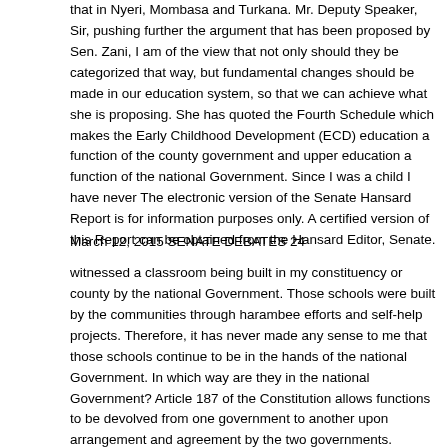that in Nyeri, Mombasa and Turkana. Mr. Deputy Speaker, Sir, pushing further the argument that has been proposed by Sen. Zani, I am of the view that not only should they be categorized that way, but fundamental changes should be made in our education system, so that we can achieve what she is proposing. She has quoted the Fourth Schedule which makes the Early Childhood Development (ECD) education a function of the county government and upper education a function of the national Government. Since I was a child I have never The electronic version of the Senate Hansard Report is for information purposes only. A certified version of this Report can be obtained from the Hansard Editor, Senate.
March 12, 2015 SENATE DEBATES 24
witnessed a classroom being built in my constituency or county by the national Government. Those schools were built by the communities through harambee efforts and self-help projects. Therefore, it has never made any sense to me that those schools continue to be in the hands of the national Government. In which way are they in the national Government? Article 187 of the Constitution allows functions to be devolved from one government to another upon arrangement and agreement by the two governments. Therefore, I am of the view that, incrementally,